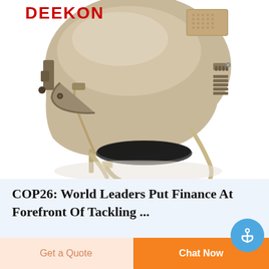[Figure (photo): A tan/khaki tactical military helmet (FAST-style) with chin strap, rail system, and various attachments, photographed on white background. DEEKON logo in red at top left.]
COP26: World Leaders Put Finance At Forefront Of Tackling ...
Get a Quote
Chat Now